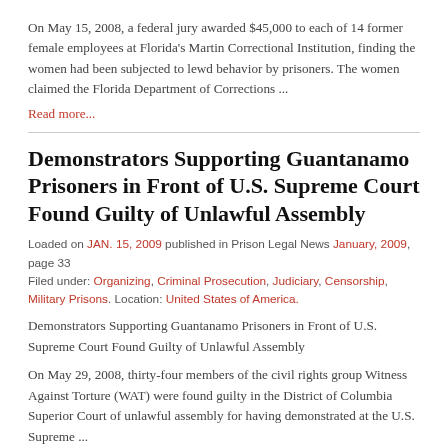On May 15, 2008, a federal jury awarded $45,000 to each of 14 former female employees at Florida's Martin Correctional Institution, finding the women had been subjected to lewd behavior by prisoners. The women claimed the Florida Department of Corrections ...
Read more...
Demonstrators Supporting Guantanamo Prisoners in Front of U.S. Supreme Court Found Guilty of Unlawful Assembly
Loaded on JAN. 15, 2009 published in Prison Legal News January, 2009, page 33 Filed under: Organizing, Criminal Prosecution, Judiciary, Censorship, Military Prisons. Location: United States of America.
Demonstrators Supporting Guantanamo Prisoners in Front of U.S. Supreme Court Found Guilty of Unlawful Assembly
On May 29, 2008, thirty-four members of the civil rights group Witness Against Torture (WAT) were found guilty in the District of Columbia Superior Court of unlawful assembly for having demonstrated at the U.S. Supreme ...